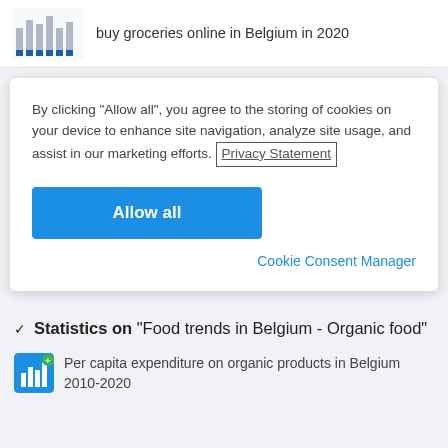buy groceries online in Belgium in 2020
By clicking “Allow all”, you agree to the storing of cookies on your device to enhance site navigation, analyze site usage, and assist in our marketing efforts. Privacy Statement
Allow all
Cookie Consent Manager
Statistics on “Food trends in Belgium - Organic food”
Per capita expenditure on organic products in Belgium 2010-2020